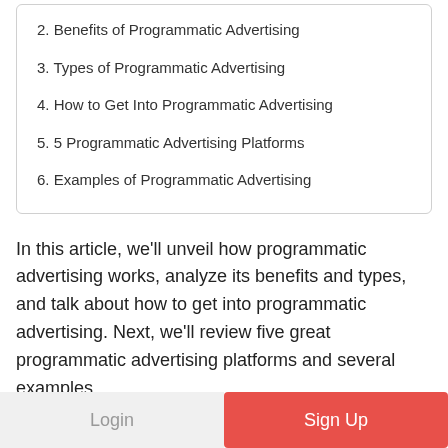2. Benefits of Programmatic Advertising
3. Types of Programmatic Advertising
4. How to Get Into Programmatic Advertising
5. 5 Programmatic Advertising Platforms
6. Examples of Programmatic Advertising
In this article, we'll unveil how programmatic advertising works, analyze its benefits and types, and talk about how to get into programmatic advertising. Next, we'll review five great programmatic advertising platforms and several examples.
Login | Sign Up